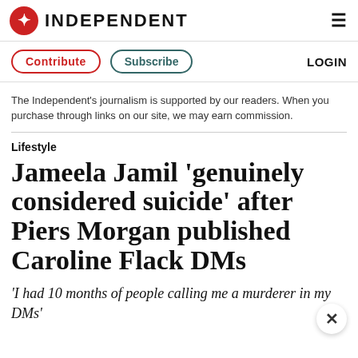INDEPENDENT
Contribute   Subscribe   LOGIN
The Independent's journalism is supported by our readers. When you purchase through links on our site, we may earn commission.
Lifestyle
Jameela Jamil ‘genuinely considered suicide’ after Piers Morgan published Caroline Flack DMs
‘I had 10 months of people calling me a murderer in my DMs’